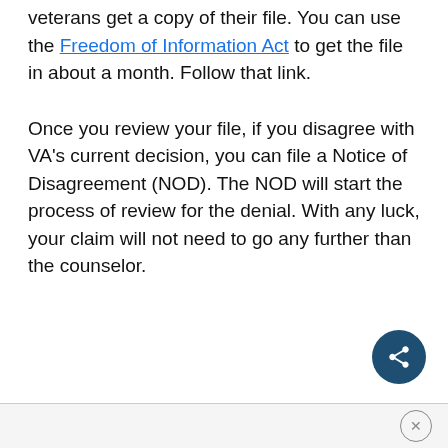Here is a very helpful blog post on this site that helps veterans get a copy of their file. You can use the Freedom of Information Act to get the file in about a month. Follow that link.
Once you review your file, if you disagree with VA's current decision, you can file a Notice of Disagreement (NOD). The NOD will start the process of review for the denial. With any luck, your claim will not need to go any further than the counselor.